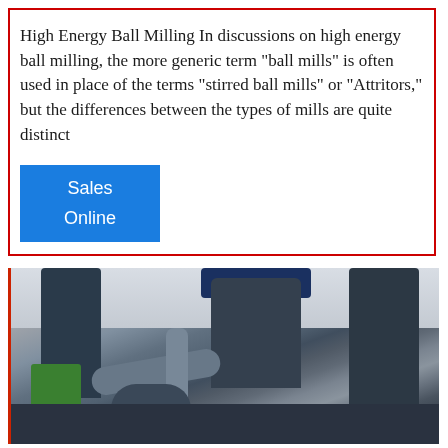High Energy Ball Milling In discussions on high energy ball milling, the more generic term "ball mills" is often used in place of the terms "stirred ball mills" or "Attritors," but the differences between the types of mills are quite distinct
Sales
Online
[Figure (photo): Industrial ball milling equipment showing large cylindrical silos, pipes, and processing equipment at an industrial facility, photographed from ground level against a pale sky.]